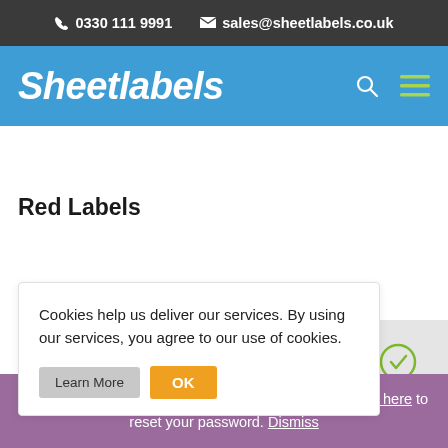📞 0330 111 9991  ✉ sales@sheetlabels.co.uk
[Figure (logo): Sheetlabels logo in white italic bold text on blue navigation bar, with search icon and hamburger menu icon]
Red Labels
Cookies help us deliver our services. By using our services, you agree to our use of cookies.
Welcome to our new website. Returning customers click here to reset your password. Dismiss